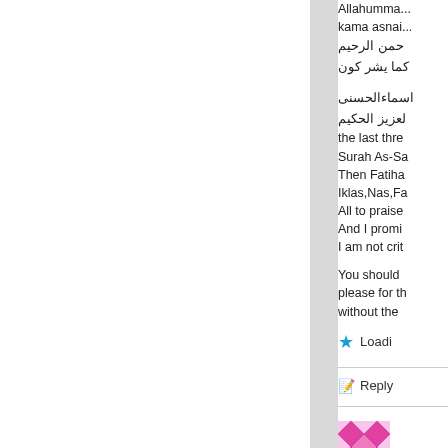Allahumma... kama asnai... حمن الرحيم كما يشر كون
اسماءالحسنى لعزيز الحكيم the last thre Surah As-Sa Then Fatiha Iklas,Nas,Fa All to praise And I promi I am not crit
You should please for th without the
Loading
Reply
[Figure (illustration): Decorative avatar/thumbnail with pink and magenta diamond pattern]